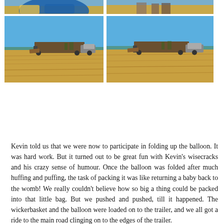[Figure (photo): Top-left partial photo showing part of a blue hot air balloon on the ground]
[Figure (photo): Top-right partial photo showing people standing in a field]
[Figure (photo): Middle-left photo of a trailer with equipment in a harvested wheat field under blue sky]
[Figure (photo): Middle-right photo of same trailer with equipment in a harvested wheat field under blue sky]
Kevin told us that we were now to participate in folding up the balloon. It was hard work. But it turned out to be great fun with Kevin’s wisecracks and his crazy sense of humour. Once the balloon was folded after much huffing and puffing, the task of packing it was like returning a baby back to the womb! We really couldn’t believe how so big a thing could be packed into that little bag. But we pushed and pushed, till it happened. The wickerbasket and the balloon were loaded on to the trailer, and we all got a ride to the main road clinging on to the edges of the trailer.